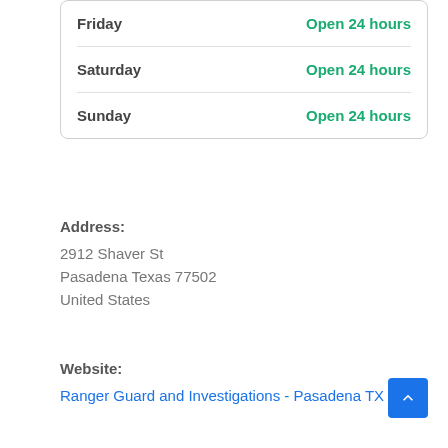| Day | Hours |
| --- | --- |
| Friday | Open 24 hours |
| Saturday | Open 24 hours |
| Sunday | Open 24 hours |
Address:
2912 Shaver St
Pasadena Texas 77502
United States
Website:
Ranger Guard and Investigations - Pasadena TX